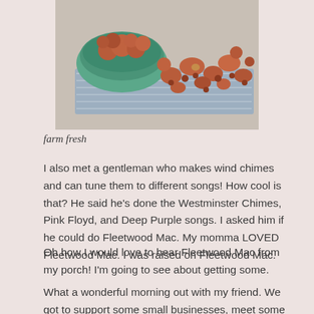[Figure (photo): Photo of red/brown small potatoes and berries spilling out of a green bowl onto a blue and white cloth surface]
farm fresh
I also met a gentleman who makes wind chimes and can tune them to different songs! How cool is that? He said he's done the Westminster Chimes, Pink Floyd, and Deep Purple songs. I asked him if he could do Fleetwood Mac. My momma LOVED Fleetwood Mac. I was raised on Fleetwood Mac.
Oh how I would love to hear Fleetwood Mac from my porch! I'm going to see about getting some.
What a wonderful morning out with my friend. We got to support some small businesses, meet some local artists, and